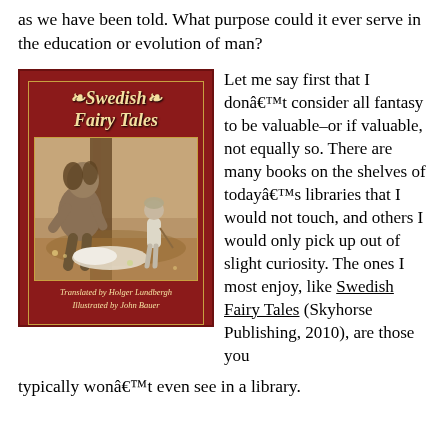as we have been told. What purpose could it ever serve in the education or evolution of man?
[Figure (illustration): Book cover of 'Swedish Fairy Tales', translated by Holger Lundbergh, illustrated by John Bauer. Red cover with gold border, showing a large trollish figure and a small child in a forest scene.]
Let me say first that I donâ€™t consider all fantasy to be valuable–or if valuable, not equally so. There are many books on the shelves of todayâ€™s libraries that I would not touch, and others I would only pick up out of slight curiosity. The ones I most enjoy, like Swedish Fairy Tales (Skyhorse Publishing, 2010), are those you typically wonâ€™t even see in a library.